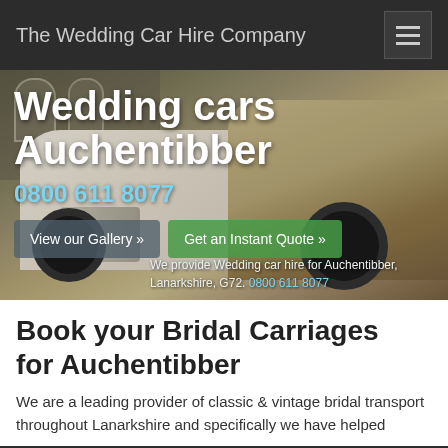The Wedding Car Hire Company
Wedding cars Auchentibber
0800 611 8077
View our Gallery »
Get an Instant Quote »
We provide Wedding car hire for Auchentibber, Lanarkshire, G72. 0800 611 8077
[Figure (photo): Photo of a classic/vintage wedding car (cream coloured) parked in front of a stone building with arched windows]
Book your Bridal Carriages for Auchentibber
We are a leading provider of classic & vintage bridal transport throughout Lanarkshire and specifically we have helped